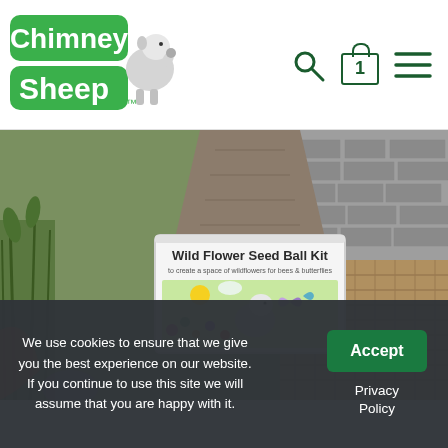Chimney Sheep - logo and navigation with search, cart (1), and menu icons
[Figure (photo): Product photo of Wild Flower Seed Ball Kit box placed outdoors on wicker/stone surface surrounded by wild plants and flowers, with a chimney visible in the background]
We use cookies to ensure that we give you the best experience on our website. If you continue to use this site we will assume that you are happy with it.
Accept
Privacy Policy